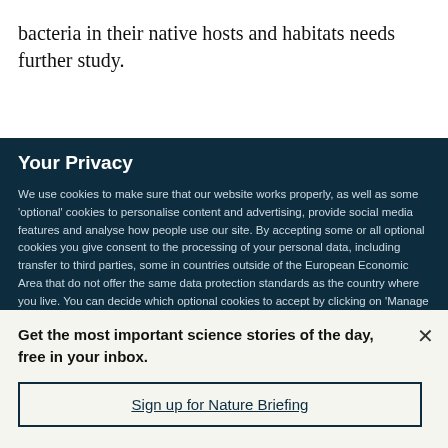bacteria in their native hosts and habitats needs further study.
Your Privacy
We use cookies to make sure that our website works properly, as well as some 'optional' cookies to personalise content and advertising, provide social media features and analyse how people use our site. By accepting some or all optional cookies you give consent to the processing of your personal data, including transfer to third parties, some in countries outside of the European Economic Area that do not offer the same data protection standards as the country where you live. You can decide which optional cookies to accept by clicking on 'Manage Settings', where you can
Get the most important science stories of the day, free in your inbox.
Sign up for Nature Briefing